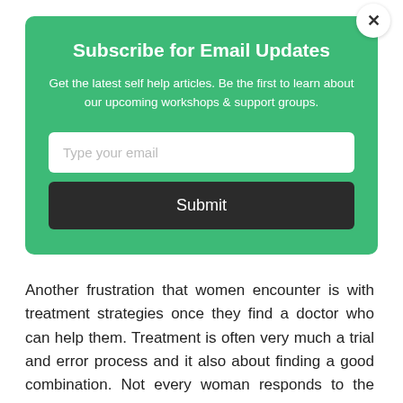Subscribe for Email Updates
Get the latest self help articles. Be the first to learn about our upcoming workshops & support groups.
Type your email
Submit
Another frustration that women encounter is with treatment strategies once they find a doctor who can help them. Treatment is often very much a trial and error process and it also about finding a good combination. Not every woman responds to the same type of treatment.